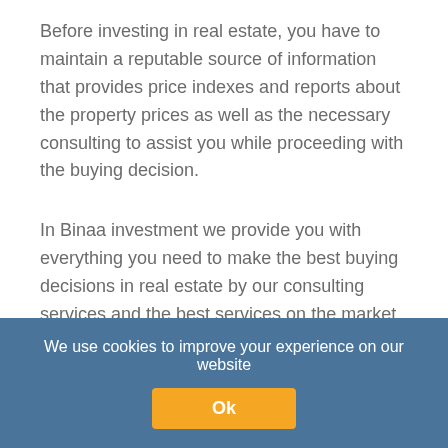Before investing in real estate, you have to maintain a reputable source of information that provides price indexes and reports about the property prices as well as the necessary consulting to assist you while proceeding with the buying decision.
In Binaa investment we provide you with everything you need to make the best buying decisions in real estate by our consulting services and the best services on the market.
WHY INVEST IN TURKEY?
We use cookies to improve your experience on our website